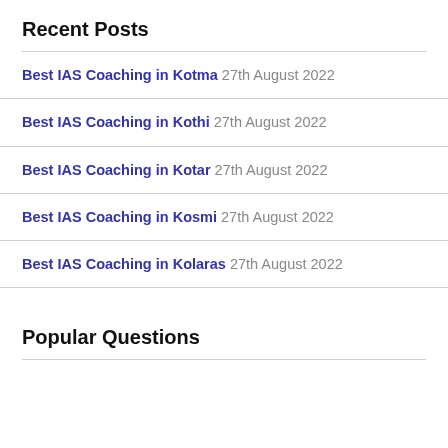Recent Posts
Best IAS Coaching in Kotma 27th August 2022
Best IAS Coaching in Kothi 27th August 2022
Best IAS Coaching in Kotar 27th August 2022
Best IAS Coaching in Kosmi 27th August 2022
Best IAS Coaching in Kolaras 27th August 2022
Popular Questions